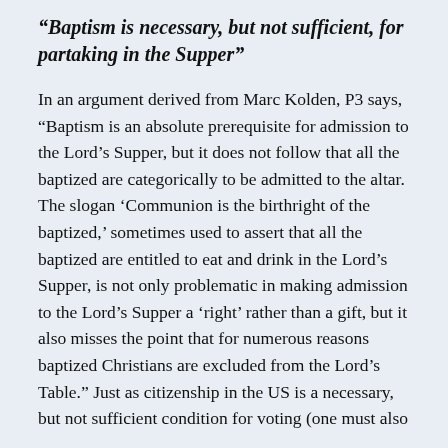“Baptism is necessary, but not sufficient, for partaking in the Supper”
In an argument derived from Marc Kolden, P3 says, “Baptism is an absolute prerequisite for admission to the Lord’s Supper, but it does not follow that all the baptized are categorically to be admitted to the altar. The slogan ‘Communion is the birthright of the baptized,’ sometimes used to assert that all the baptized are entitled to eat and drink in the Lord’s Supper, is not only problematic in making admission to the Lord’s Supper a ‘right’ rather than a gift, but it also misses the point that for numerous reasons baptized Christians are excluded from the Lord’s Table.” Just as citizenship in the US is a necessary, but not sufficient condition for voting (one must also